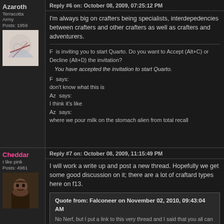Reply #6 on: October 08, 2009, 07:25:12 PM
Azaroth
Terracotta Army
Posts: 1959
I'm always big on crafters being specialists, interdepedencies between crafters and other crafters as well as crafters and adventurers.
F  is inviting you to start Quarto. Do you want to Accept (Alt+C) or Decline (Alt+D) the invitation?
You have accepted the invitation to start Quarto.
F  says:
don't know what this is
Az  says:
I think it's like
Az  says:
where we pour milk on the stomach alien from total recall
Reply #7 on: October 08, 2009, 11:15:49 PM
Cheddar
I like pink
Posts: 4981
I will work a write up and post a new thread. Hopefully we get some good discussion on it; there are a lot of craftard types here on f13.
Quote from: Falconeer on November 02, 2010, 09:43:04 AM
No Nerf, but I put a link to this very thread and I said that you all can guarantee for my purity. I even mentioned your case, and see